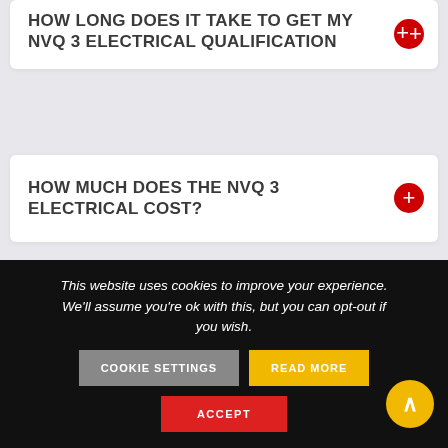HOW LONG DOES IT TAKE TO GET MY NVQ 3 ELECTRICAL QUALIFICATION
HOW MUCH DOES THE NVQ 3 ELECTRICAL COST?
CAN I PAY MONTHLY?
This website uses cookies to improve your experience. We'll assume you're ok with this, but you can opt-out if you wish.
COOKIE SETTINGS
READ MORE
ACCEPT